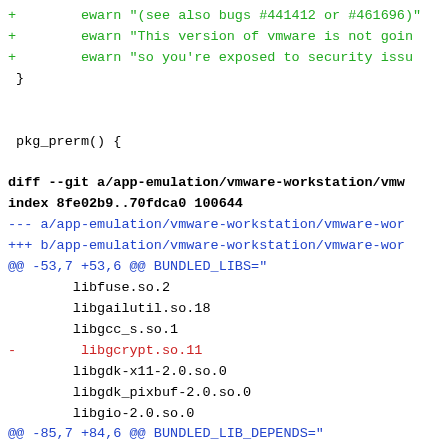Code diff showing vmware-workstation ebuild changes including removal of libgcrypt.so.11 from BUNDLED_LIBS